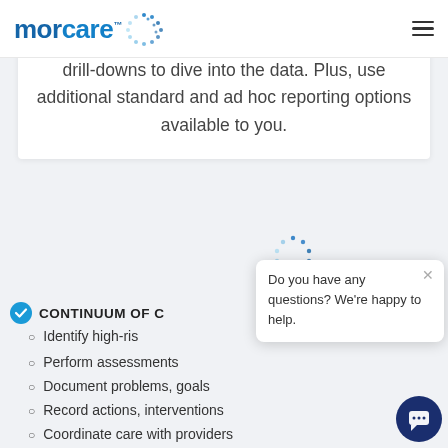morcare™ [navigation logo with dots]
drill-downs to dive into the data. Plus, use additional standard and ad hoc reporting options available to you.
CONTINUUM OF C…
Identify high-ris…
Perform assessments
Document problems, goals
Record actions, interventions
Coordinate care with providers
Do you have any questions? We're happy to help.